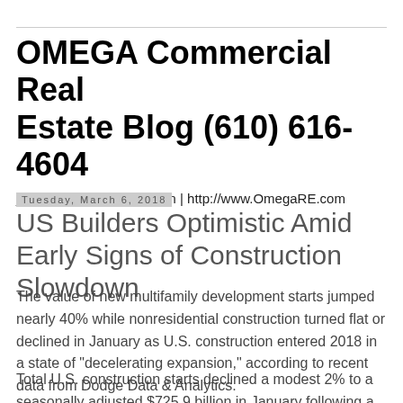OMEGA Commercial Real Estate Blog (610) 616-4604
jodonnell@OmegaRE.com | http://www.OmegaRE.com
Tuesday, March 6, 2018
US Builders Optimistic Amid Early Signs of Construction Slowdown
The value of new multifamily development starts jumped nearly 40% while nonresidential construction turned flat or declined in January as U.S. construction entered 2018 in a state of "decelerating expansion," according to recent data from Dodge Data & Analytics.
Total U.S. construction starts declined a modest 2% to a seasonally adjusted $725.9 billion in January following a 13% increase the prior month, largely due to an 18%